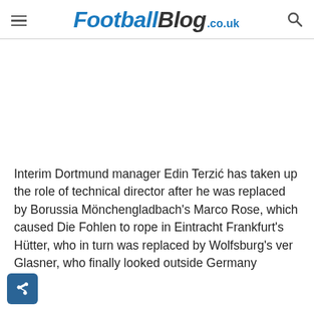FootballBlog.co.uk
[Figure (other): Advertisement/blank white space area]
Interim Dortmund manager Edin Terzić has taken up the role of technical director after he was replaced by Borussia Mönchengladbach's Marco Rose, which caused Die Fohlen to rope in Eintracht Frankfurt's Hütter, who in turn was replaced by Wolfsburg's ver Glasner, who finally looked outside Germany